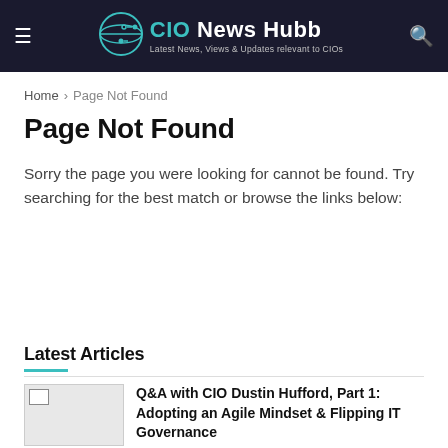CIO News Hubb — Latest News, Views & Updates relevant to CIOs
Home > Page Not Found
Page Not Found
Sorry the page you were looking for cannot be found. Try searching for the best match or browse the links below:
[Figure (other): Search input box with teal search button]
Latest Articles
Q&A with CIO Dustin Hufford, Part 1: Adopting an Agile Mindset & Flipping IT Governance — BY ADMIN © SEPTEMBER 1, 2022